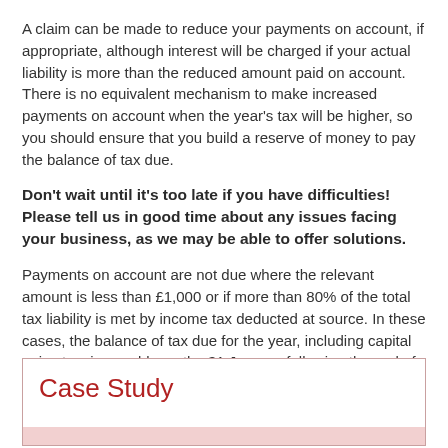A claim can be made to reduce your payments on account, if appropriate, although interest will be charged if your actual liability is more than the reduced amount paid on account. There is no equivalent mechanism to make increased payments on account when the year's tax will be higher, so you should ensure that you build a reserve of money to pay the balance of tax due.
Don't wait until it's too late if you have difficulties! Please tell us in good time about any issues facing your business, as we may be able to offer solutions.
Payments on account are not due where the relevant amount is less than £1,000 or if more than 80% of the total tax liability is met by income tax deducted at source. In these cases, the balance of tax due for the year, including capital gains tax, is payable on the 31 January following the end of the tax year.
Case Study